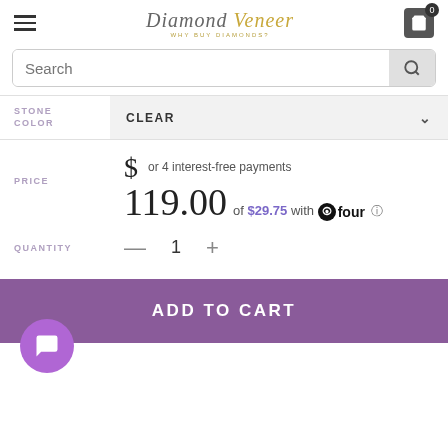Diamond Veneer - WHY BUY DIAMONDS?
Search
STONE COLOR: CLEAR
PRICE $119.00 or 4 interest-free payments of $29.75 with four
QUANTITY — 1 +
ADD TO CART